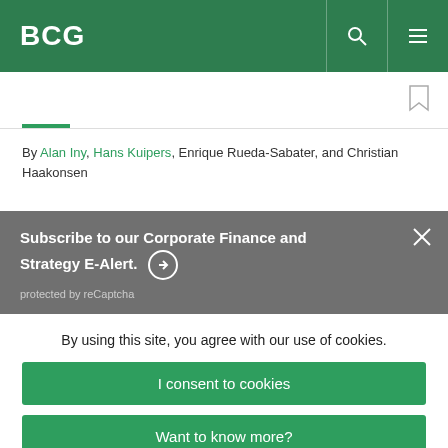BCG
By Alan Iny, Hans Kuipers, Enrique Rueda-Sabater, and Christian Haakonsen
Subscribe to our Corporate Finance and Strategy E-Alert. protected by reCaptcha
By using this site, you agree with our use of cookies. I consent to cookies Want to know more? Read our Cookie Policy